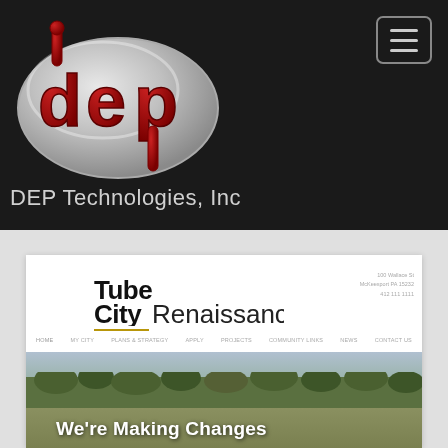[Figure (logo): DEP Technologies Inc logo — silver/grey oval with red 3D lettering 'dep' inside, on dark background]
DEP Technologies, Inc
[Figure (screenshot): Screenshot of Tube City Renaissance website showing logo, navigation bar with HOME, MY CITY, PLANS & STRATEGY, APPLY, PROJECTS, COMMUNITY LINKS, NEWS, CONTACT US, and a landscape/brownfield photo with text 'We're Making Changes']
We're Making Changes